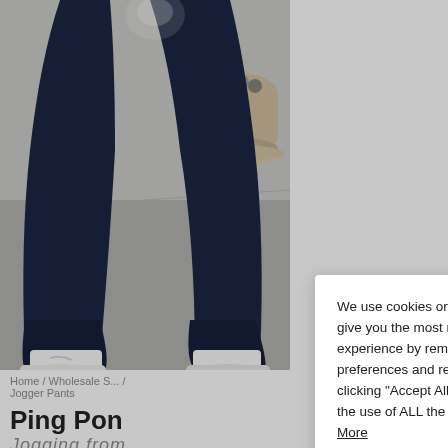[Figure (photo): Product photo showing lower body of person wearing navy blue jogger pants and white Nike socks with white sneakers, with a potted plant visible in background]
Home / Wholesale S... / Jogger Pants
Ping Pon...
We use cookies on our website to give you the most relevant experience by remembering your preferences and repeat visits. By clicking “Accept All”, you consent to the use of ALL the cookies. Read More
Do not sell my personal information.
Cookie Settings
Accept All